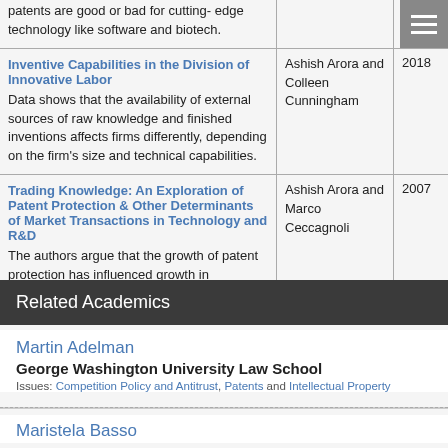| Title / Description | Author(s) | Year |
| --- | --- | --- |
| patents are good or bad for cutting-edge technology like software and biotech. |  |  |
| Inventive Capabilities in the Division of Innovative Labor
Data shows that the availability of external sources of raw knowledge and finished inventions affects firms differently, depending on the firm's size and technical capabilities. | Ashish Arora and Colleen Cunningham | 2018 |
| Trading Knowledge: An Exploration of Patent Protection & Other Determinants of Market Transactions in Technology and R&D
The authors argue that the growth of patent protection has influenced growth in industries of the technology trade. | Ashish Arora and Marco Ceccagnoli | 2007 |
Related Academics
Martin Adelman
George Washington University Law School
Issues: Competition Policy and Antitrust, Patents and Intellectual Property
Maristela Basso